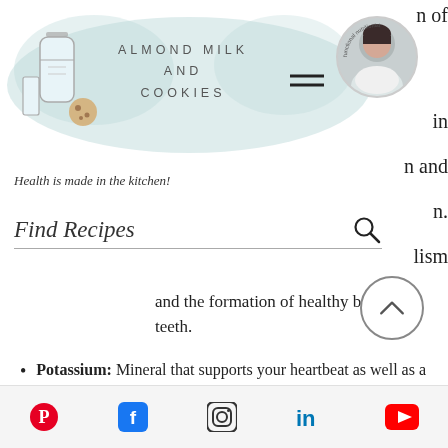ALMOND MILK AND COOKIES — Health is made in the kitchen!
and the formation of healthy bones and teeth.
Potassium: Mineral that supports your heartbeat as well as a healthy metabolism [2].
Selenium:
Zinc: Cofactor necessary in the production of hydrochloric acid to support optimized chemical digestion
Social links: Pinterest, Facebook, Instagram, LinkedIn, YouTube